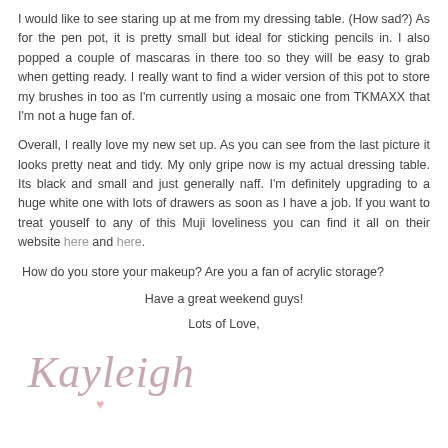I would like to see staring up at me from my dressing table. (How sad?) As for the pen pot, it is pretty small but ideal for sticking pencils in. I also popped a couple of mascaras in there too so they will be easy to grab when getting ready. I really want to find a wider version of this pot to store my brushes in too as I'm currently using a mosaic one from TKMAXX that I'm not a huge fan of.
Overall, I really love my new set up. As you can see from the last picture it looks pretty neat and tidy. My only gripe now is my actual dressing table. Its black and small and just generally naff. I'm definitely upgrading to a huge white one with lots of drawers as soon as I have a job. If you want to treat youself to any of this Muji loveliness you can find it all on their website here and here.
How do you store your makeup? Are you a fan of acrylic storage?
Have a great weekend guys!
Lots of Love,
[Figure (illustration): Handwritten cursive signature reading 'Kayleigh' in pink/mauve color with a small pink heart below]